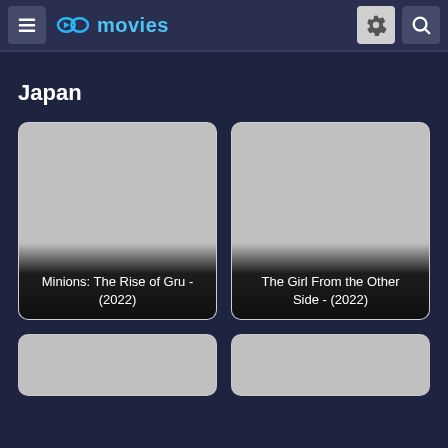fmovies — Japan
Japan
[Figure (screenshot): Movie card for Minions: The Rise of Gru - (2022) with grey placeholder image]
Minions: The Rise of Gru - (2022)
[Figure (screenshot): Movie card for The Girl From the Other Side - (2022) with grey placeholder image]
The Girl From the Other Side - (2022)
[Figure (screenshot): Partial movie card — bottom of page, grey placeholder, no title visible]
[Figure (screenshot): Partial movie card — bottom of page, grey placeholder, no title visible]